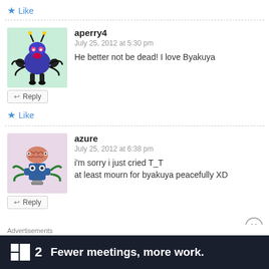★ Like
aperry4
July 25, 2012 at 5:30 pm
He better not be dead! I love Byakuya
★ Like
azure
July 25, 2012 at 6:38 pm
i'm sorry i just cried T_T
at least mourn for byakuya peacefully XD
Advertisements
▪2  Fewer meetings, more work.